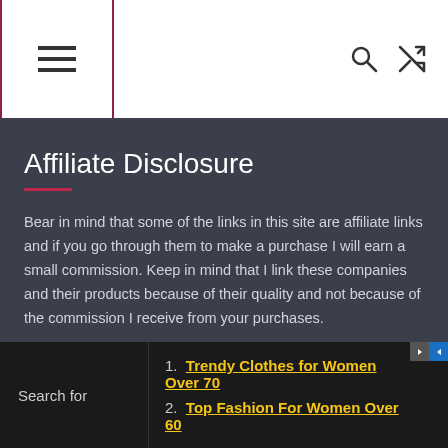Navigation header with menu button, search icon, and shuffle icon
Affiliate Disclosure
Bear in mind that some of the links in this site are affiliate links and if you go through them to make a purchase I will earn a small commission. Keep in mind that I link these companies and their products because of their quality and not because of the commission I receive from your purchases.
The decision is yours, and whether or not you decide to buy something (through my links or elsewhere) is completely up to you. The income from the affiliate links help me keep this blog
1. Trendy Clothes for Women Over 70
2. Top Fashion For Women Over 60